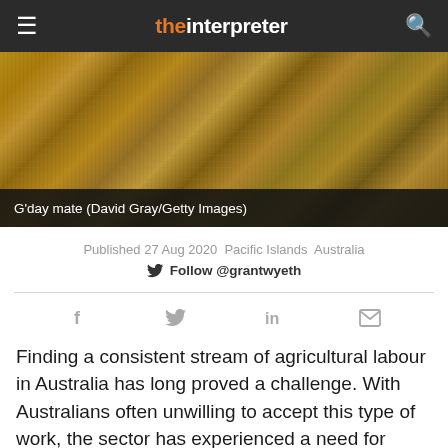the interpreter
[Figure (photo): Blurry close-up photo of golden/yellow grain field crops]
G'day mate (David Gray/Getty Images)
Published 27 Aug 2020  Pacific Islands  Australia
Follow @grantwyeth
Finding a consistent stream of agricultural labour in Australia has long proved a challenge. With Australians often unwilling to accept this type of work, the sector has experienced a need for labour